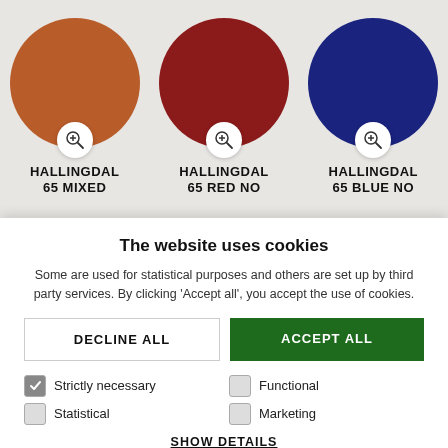[Figure (screenshot): Three fabric swatches shown as circles: orange (Hallingdal 65 Mixed), red (Hallingdal 65 Red No), blue (Hallingdal 65 Blue No), each with a zoom magnifier icon below.]
HALLINGDAL 65 MIXED
HALLINGDAL 65 RED NO
HALLINGDAL 65 BLUE NO
The website uses cookies
Some are used for statistical purposes and others are set up by third party services. By clicking 'Accept all', you accept the use of cookies.
DECLINE ALL
ACCEPT ALL
Strictly necessary
Functional
Statistical
Marketing
SHOW DETAILS